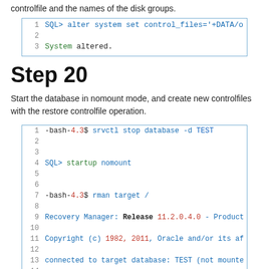controlfile and the names of the disk groups.
1  SQL> alter system set control_files='+DATA/orcl/contro
2
3  System altered.
Step 20
Start the database in nomount mode, and create new controlfiles with the restore controlfile operation.
1  -bash-4.3$ srvctl stop database -d TEST
2
3
4  SQL> startup nomount
5
6
7  -bash-4.3$ rman target /
8
9  Recovery Manager: Release 11.2.0.4.0 - Production on T
10
11  Copyright (c) 1982, 2011, Oracle and/or its affiliates
12
13  connected to target database: TEST (not mounted)
14
15  RMAN> restore controlfile from '+DATA/orcl/controlfil
16